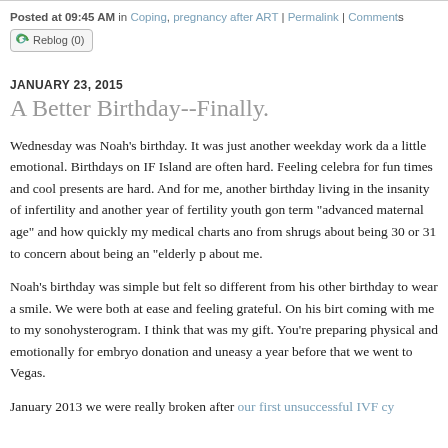Posted at 09:45 AM in Coping, pregnancy after ART | Permalink | Comments
[Figure (other): Reblog (0) button with green recycling-arrow icon]
JANUARY 23, 2015
A Better Birthday--Finally.
Wednesday was Noah's birthday. It was just another weekday work da... a little emotional. Birthdays on IF Island are often hard. Feeling celebra... for fun times and cool presents are hard. And for me, another birthday... living in the insanity of infertility and another year of fertility youth gon... term "advanced maternal age" and how quickly my medical charts ano... from shrugs about being 30 or 31 to concern about being an "elderly p... about me.
Noah's birthday was simple but felt so different from his other birthday... to wear a smile. We were both at ease and feeling grateful. On his birt... coming with me to my sonohysterogram. I think that was my gift. You're... preparing physical and emotionally for embryo donation and uneasy a... year before that we went to Vegas.
January 2013 we were really broken after our first unsuccessful IVF cy...